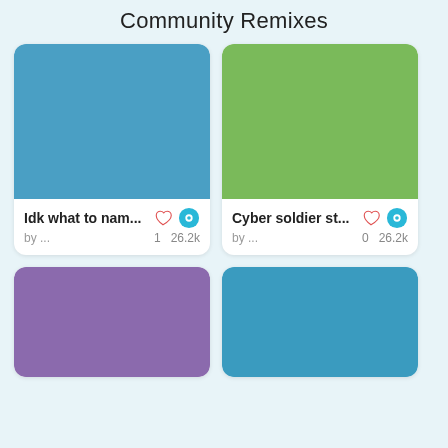Community Remixes
[Figure (screenshot): Card thumbnail - blue colored rectangle]
Idk what to nam... by ... 1 26.2k
[Figure (screenshot): Card thumbnail - green colored rectangle]
Cyber soldier st... by ... 0 26.2k
[Figure (screenshot): Card thumbnail - purple colored rectangle]
[Figure (screenshot): Card thumbnail - blue colored rectangle]